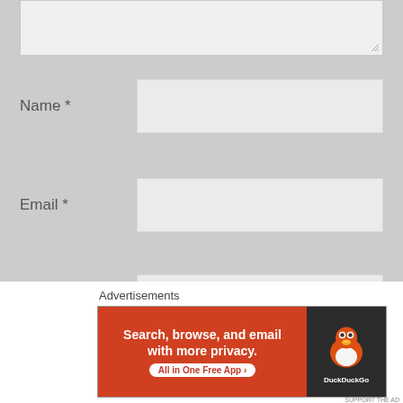[Figure (screenshot): Textarea input box (partially visible at top of page) with resize handle at bottom right]
Name *
[Figure (screenshot): Name input field (empty text box)]
Email *
[Figure (screenshot): Email input field (empty text box)]
Website
[Figure (screenshot): Website input field (empty text box)]
POST COMMENT
Advertisements
[Figure (screenshot): DuckDuckGo advertisement banner: 'Search, browse, and email with more privacy. All in One Free App' with DuckDuckGo duck logo on dark background]